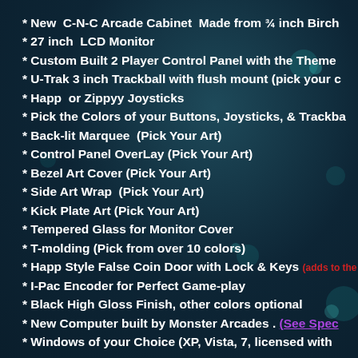* New  C-N-C Arcade Cabinet  Made from ¾ inch Birch
* 27 inch  LCD Monitor
* Custom Built 2 Player Control Panel with the Theme
* U-Trak 3 inch Trackball with flush mount (pick your c
* Happ  or Zippyy Joysticks
* Pick the Colors of your Buttons, Joysticks, & Trackba
* Back-lit Marquee  (Pick Your Art)
* Control Panel OverLay (Pick Your Art)
* Bezel Art Cover (Pick Your Art)
* Side Art Wrap  (Pick Your Art)
* Kick Plate Art (Pick Your Art)
* Tempered Glass for Monitor Cover
* T-molding (Pick from over 10 colors)
* Happ Style False Coin Door with Lock & Keys (adds to the
* I-Pac Encoder for Perfect Game-play
* Black High Gloss Finish, other colors optional
* New Computer built by Monster Arcades . (See Spec
* Windows of your Choice (XP, Vista, 7, licensed with